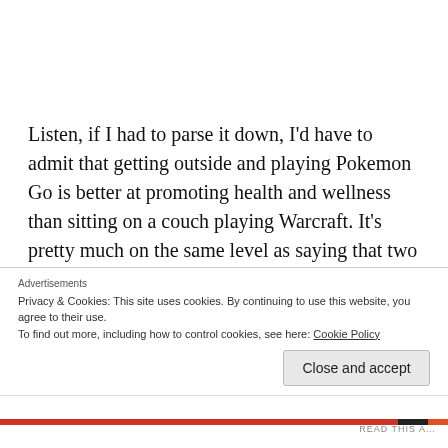Listen, if I had to parse it down, I'd have to admit that getting outside and playing Pokemon Go is better at promoting health and wellness than sitting on a couch playing Warcraft. It's pretty much on the same level as saying that two bowls of chocolate chip ice cream is better at keeping you fit and trim than four bowls. It's not the best solution, but it could work. Not for me, but
Advertisements
Privacy & Cookies: This site uses cookies. By continuing to use this website, you agree to their use.
To find out more, including how to control cookies, see here: Cookie Policy
Close and accept